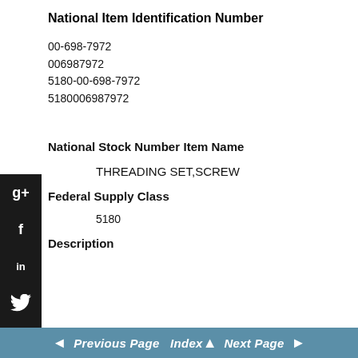National Item Identification Number
00-698-7972
006987972
5180-00-698-7972
5180006987972
National Stock Number
Item Name
THREADING SET,SCREW
Federal Supply Class
5180
Description
◄  Previous Page   Index ▲   Next Page  ►